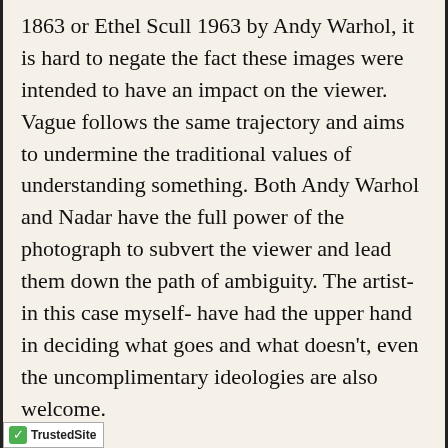1863 or Ethel Scull 1963 by Andy Warhol, it is hard to negate the fact these images were intended to have an impact on the viewer. Vague follows the same trajectory and aims to undermine the traditional values of understanding something. Both Andy Warhol and Nadar have the full power of the photograph to subvert the viewer and lead them down the path of ambiguity. The artist- in this case myself- have had the upper hand in deciding what goes and what doesn't, even the uncomplimentary ideologies are also welcome.
I would briefly like to gander at works by Dayanita Singh as I found her works quite interesting and remarkably effortless to decode/ understand. Her photographs are quite unique, as they offer a different
[Figure (logo): TrustedSite logo with green checkmark in bottom left corner]